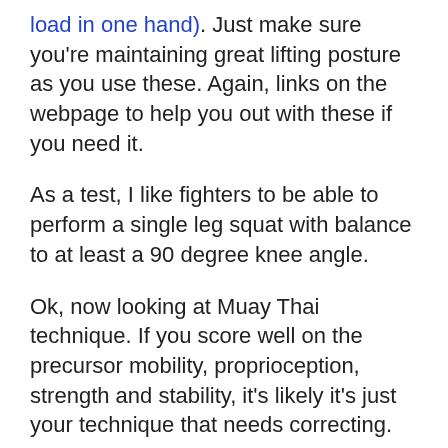load in one hand). Just make sure you're maintaining great lifting posture as you use these. Again, links on the webpage to help you out with these if you need it.
As a test, I like fighters to be able to perform a single leg squat with balance to at least a 90 degree knee angle.
Ok, now looking at Muay Thai technique. If you score well on the precursor mobility, proprioception, strength and stability, it's likely it's just your technique that needs correcting.
This is where we need to change your habits, and correct those motor pattern engrams I've spoken of in the past. Again